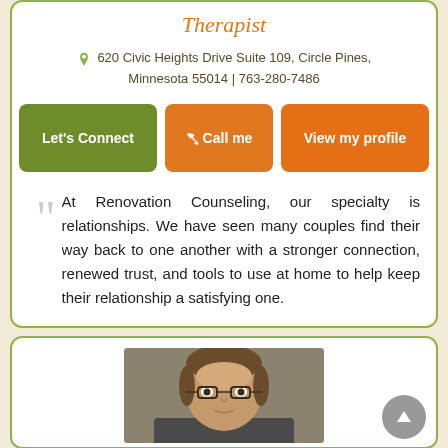Therapist
620 Civic Heights Drive Suite 109, Circle Pines, Minnesota 55014 | 763-280-7486
Let's Connect | Call me | View my profile
At Renovation Counseling, our specialty is relationships. We have seen many couples find their way back to one another with a stronger connection, renewed trust, and tools to use at home to help keep their relationship a satisfying one.
[Figure (photo): Profile photo of a man with glasses and brown hair against a neutral background]